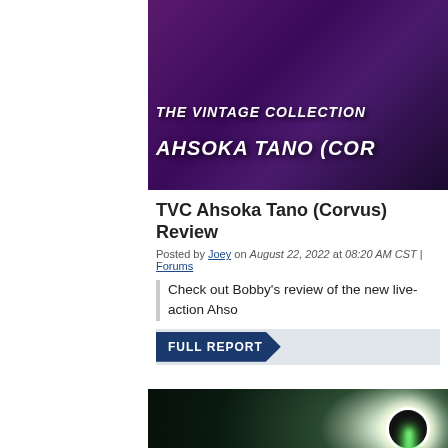[Figure (photo): The Vintage Collection Ahsoka Tano (Corvus) action figure promotional image with purple background and bold italic white text: THE VINTAGE COLLECTION / AHSOKA TANO (COR...]
TVC Ahsoka Tano (Corvus) Review
Posted by Joey on August 22, 2022 at 08:20 AM CST | Forums
Check out Bobby's review of the new live-action Ahso
FULL REPORT
[Figure (photo): Dark atmospheric image with glowing green lightsaber beam and eclipse/ring of light in the upper right corner, dark silhouetted rock formations in the foreground]